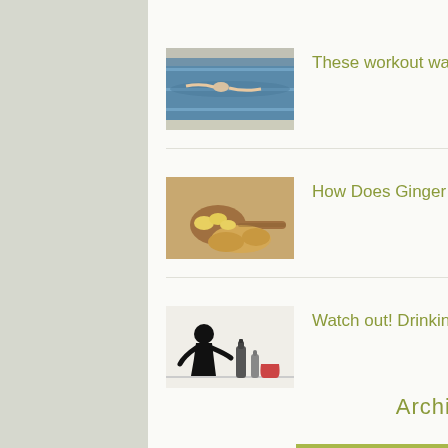[Figure (photo): Thumbnail image of a swimming pool with a swimmer]
These workout ways may cause a worse pain |
[Figure (photo): Thumbnail image of ginger root and sliced ginger pieces in a wooden spoon]
How Does Ginger Help In Hair Growth|
[Figure (photo): Silhouette of a person slumped over with alcohol bottles]
Watch out! Drinking Alcohol Might Cause Your Hair Loss Even Worse|
Archive